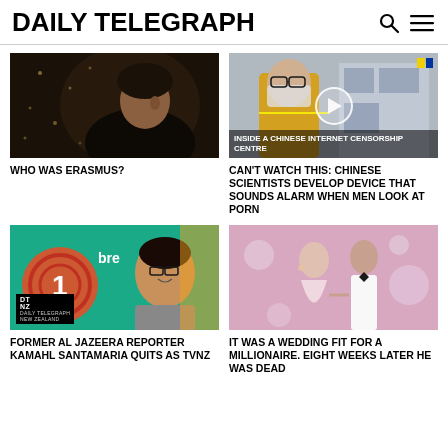DAILY TELEGRAPH
[Figure (photo): Dark Renaissance portrait painting, profile view of a man in black clothing and hat — Erasmus portrait]
WHO WAS ERASMUS?
[Figure (photo): Video thumbnail of a man wearing a yellow jacket and face mask, with play button overlay. Text overlay reads: INSIDE A CHINESE INTERNET CENSORSHIP CENTRE]
CAN'T WATCH THIS: CHINESE SCIENTISTS DEVELOP DEVICE THAT SOUNDS ALARM WHEN MEN LOOK AT PORN
[Figure (photo): TV broadcast image of a man smiling in front of a colorful background with '1 Breakfast' branding and DT NZ / Daily Telegraph New Zealand badge]
FORMER AL JAZEERA REPORTER KAMAHL SANTAMARIA QUITS AS TVNZ
[Figure (photo): Wedding photo of a couple in formal attire at what appears to be a reception]
IT WAS A WEDDING FIT FOR A MILLIONAIRE. EIGHT WEEKS LATER HE WAS DEAD